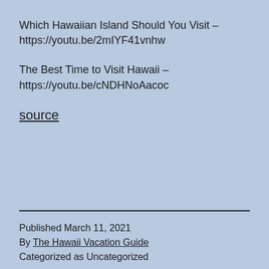Which Hawaiian Island Should You Visit – https://youtu.be/2mIYF41vnhw
The Best Time to Visit Hawaii – https://youtu.be/cNDHNoAacoc
source
Published March 11, 2021
By The Hawaii Vacation Guide
Categorized as Uncategorized